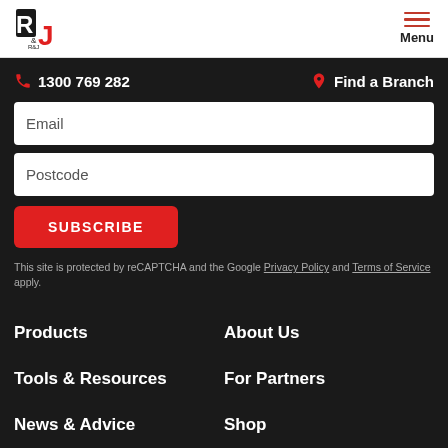R&J logo + Menu
📞 1300 769 282   📍 Find a Branch
Email
Postcode
SUBSCRIBE
This site is protected by reCAPTCHA and the Google Privacy Policy and Terms of Service apply.
Products
About Us
Tools & Resources
For Partners
News & Advice
Shop